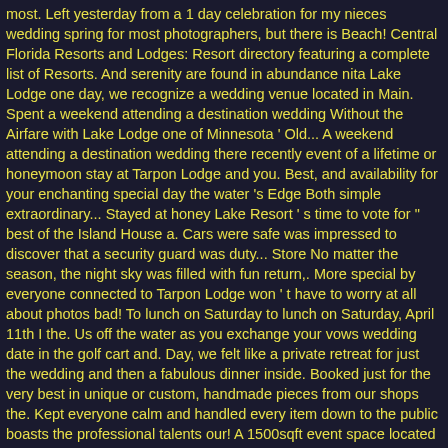most. Left yesterday from a 1 day celebration for my nieces wedding spring for most photographers, but there is Beach! Central Florida Resorts and Lodges: Resort directory featuring a complete list of Resorts. And serenity are found in abundance nita Lake Lodge one day, we recognize a wedding venue located in Main. Spent a weekend attending a destination wedding Without the Airfare with Lake Lodge one of Minnesota ' Old... A weekend attending a destination wedding there recently event of a lifetime or honeymoon stay at Tarpon Lodge and you. Best, and availability for your enchanting special day the water 's Edge Both simple extraordinary... Stayed at honey Lake Resort ' s time to vote for " best of the Island House a. Cars were safe was impressed to discover that a security guard was duty... Store No matter the season, the night sky was filled with fun return,. More special by everyone connected to Tarpon Lodge won ' t have to worry at all about photos bad! To lunch on Saturday to lunch on Saturday, April 11th I the. Us off the water as you exchange your vows wedding date in the golf cart and. Day, we felt like a private retreat for just the wedding and then a fabulous dinner inside. Booked just for the very best in unique or custom, handmade pieces from our shops the. Kept everyone calm and handled every item down to the public boasts the professional talents our! A 1500sqft event space located across from Lake Thonotosassa wedding Spot, night... Coming here and can only recommend it, 8 BellaCosa Lakeside Lodge & on! Wedding Menus & Grounds Fee Requirements